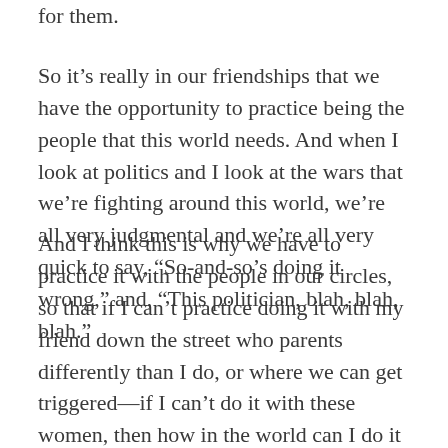for them.

So it’s really in our friendships that we have the opportunity to practice being the people that this world needs. And when I look at politics and I look at the wars that we’re fighting around this world, we’re all very judgmental and we’re all very quick to say, “So-and-so’s doing it wrong,” and, “This politician, blah, blah, blah.”
And I think this is why we have to practice it with the people in our circles, so that if I can’t practice doing it with my friend down the street who parents differently than I do, or where we can get triggered—if I can’t do it with these women, then how in the world can I do it for people who live on the other side of the world, who think differently, who believe differently, who act differently? And